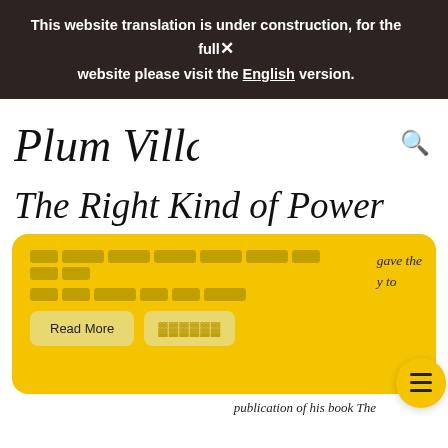This website translation is under construction, for the full website please visit the English version.
[Figure (logo): Plum Village handwritten logo in black script]
The Right Kind of Power
[redacted text] gave the [redacted] to
Read More [redacted button]
publication of his book The